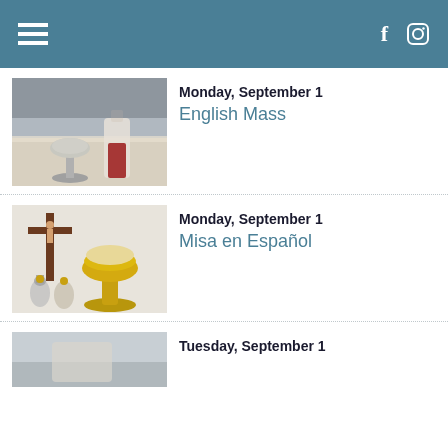Navigation menu, Facebook, Instagram icons
[Figure (photo): Chalice and wine carafe with red wine on a lace-covered altar table]
Monday, September 1
English Mass
[Figure (photo): Golden chalice with bread, crucifix, and oil flasks on a white surface]
Monday, September 1
Misa en Español
[Figure (photo): Partial view of a third mass-related photo]
Tuesday, September 1